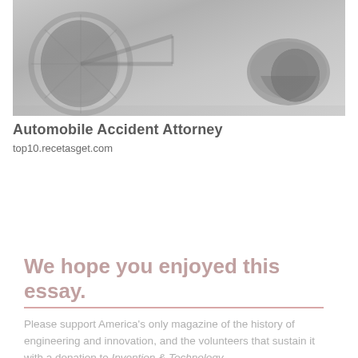[Figure (photo): Faded photo of a fallen bicycle with helmet on pavement, used as advertisement image]
Automobile Accident Attorney
top10.recetasget.com
We hope you enjoyed this essay.
Please support America's only magazine of the history of engineering and innovation, and the volunteers that sustain it with a donation to Invention & Technology.